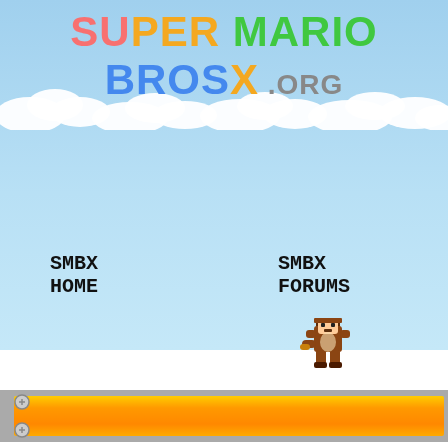[Figure (screenshot): Super Mario Bros X website screenshot showing sky background with clouds, colorful SMBX logo, navigation links SMBX HOME and SMBX FORUMS, a Tanooki Mario character, an orange platform bar, a grey navigation/breadcrumb bar with Quick links and FAQ, and Home > Board index breadcrumb. Footer text partially visible: Super Mario Bros. X Forums · Privacy policy]
SUPER MARIO BROS X .ORG
SMBX HOME
SMBX FORUMS
Quick links    FAQ
Home < Board index
Super Mario Bros. X Forums · Privacy policy